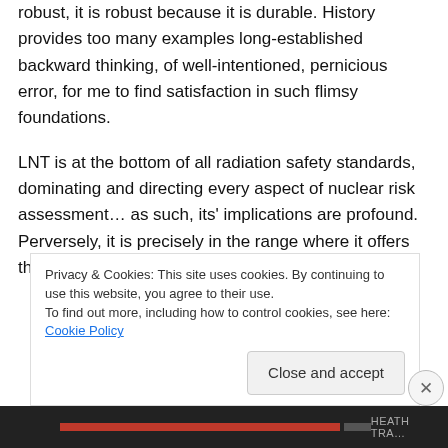robust, it is robust because it is durable. History provides too many examples long-established backward thinking, of well-intentioned, pernicious error, for me to find satisfaction in such flimsy foundations.

LNT is at the bottom of all radiation safety standards, dominating and directing every aspect of nuclear risk assessment… as such, its' implications are profound. Perversely, it is precisely in the range where it offers the least predictable utility that its' influence is most
Privacy & Cookies: This site uses cookies. By continuing to use this website, you agree to their use.
To find out more, including how to control cookies, see here: Cookie Policy
Close and accept